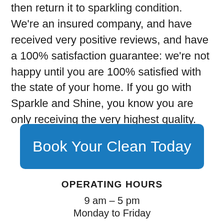then return it to sparkling condition. We're an insured company, and have received very positive reviews, and have a 100% satisfaction guarantee: we're not happy until you are 100% satisfied with the state of your home. If you go with Sparkle and Shine, you know you are only receiving the very highest quality.
Book Your Clean Today
OPERATING HOURS
9 am – 5 pm
Monday to Friday